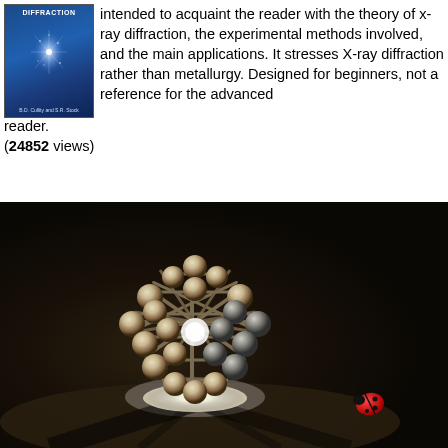[Figure (illustration): Book cover for X-ray diffraction textbook with blue background and starburst/crystal illustration]
intended to acquaint the reader with the theory of x-ray diffraction, the experimental methods involved, and the main applications. It stresses X-ray diffraction rather than metallurgy. Designed for beginners, not a reference for the advanced reader.
(24852 views)
[Figure (photo): Photo of a physical molecular model (buckyball/fullerene C60 structure) made of metal spheres and rods, illuminated from below on a sandy surface, with a red ladybug visible in the lower right corner.]